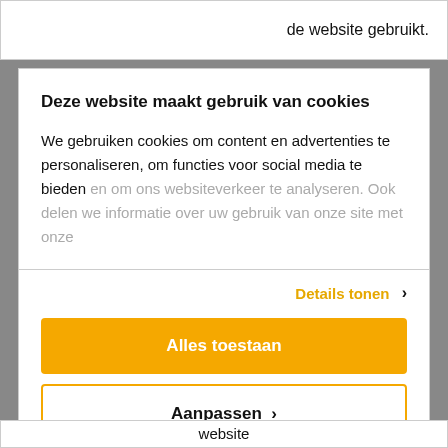de website gebruikt.
Deze website maakt gebruik van cookies
We gebruiken cookies om content en advertenties te personaliseren, om functies voor social media te bieden en om ons websiteverkeer te analyseren. Ook delen we informatie over uw gebruik van onze site met onze
Details tonen ›
Alles toestaan
Aanpassen ›
Powered by Cookiebot by Usercentrics
website